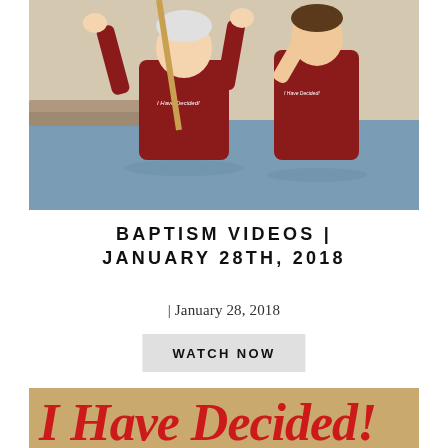[Figure (photo): Two men in wet red 'I Have Decided!' t-shirts standing in a baptismal pool, the older man raising his fists in celebration, the younger man beside him]
BAPTISM VIDEOS | JANUARY 28TH, 2018
| January 28, 2018
WATCH NOW
[Figure (photo): Partial view of 'I Have Decided!' text/logo on a tan/golden background]